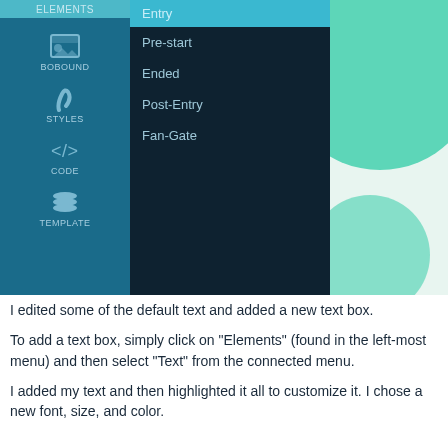[Figure (screenshot): UI screenshot showing a dark-themed application sidebar with navigation icons (BOBOUND, STYLES, CODE, TEMPLATE) and a dropdown panel listing menu options: Entry (highlighted in teal), Pre-start, Ended, Post-Entry, Fan-Gate on dark background. Right side shows teal circular decorative element on light background.]
I edited some of the default text and added a new text box.
To add a text box, simply click on "Elements" (found in the left-most menu) and then select "Text" from the connected menu.
I added my text and then highlighted it all to customize it. I chose a new font, size, and color.